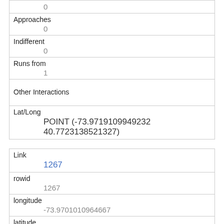|  | 0 |
| Approaches | 0 |
| Indifferent | 0 |
| Runs from | 1 |
| Other Interactions |  |
| Lat/Long | POINT (-73.9719109949232 40.7723138521327) |
| Link | 1267 |
| rowid | 1267 |
| longitude | -73.9701010964667 |
| latitude | 40.768891931450796 |
| Unique Squirrel ID |  |